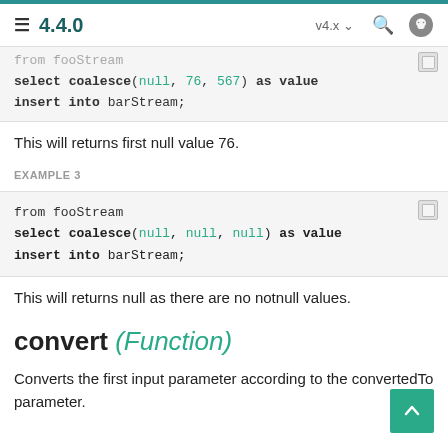4.4.0  v4.x
[Figure (screenshot): Code block (partially visible at top): from fooStream select coalesce(null, 76, 567) as value insert into barStream;]
This will returns first null value 76.
EXAMPLE 3
[Figure (screenshot): Code block: from fooStream
select coalesce(null, null, null) as value
insert into barStream;]
This will returns null as there are no notnull values.
convert (Function)
Converts the first input parameter according to the convertedTo parameter.